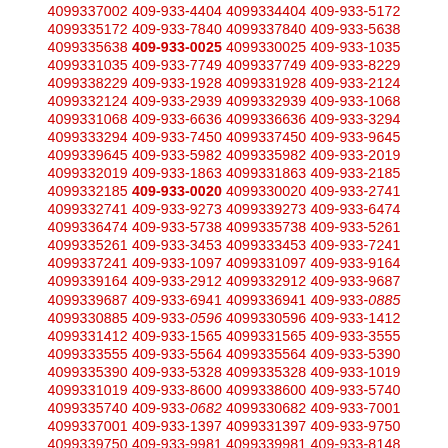4099337002 409-933-4404 4099334404 409-933-5172
4099335172 409-933-7840 4099337840 409-933-5638
4099335638 409-933-0025 4099330025 409-933-1035
4099331035 409-933-7749 4099337749 409-933-8229
4099338229 409-933-1928 4099331928 409-933-2124
4099332124 409-933-2939 4099332939 409-933-1068
4099331068 409-933-6636 4099336636 409-933-3294
4099333294 409-933-7450 4099337450 409-933-9645
4099339645 409-933-5982 4099335982 409-933-2019
4099332019 409-933-1863 4099331863 409-933-2185
4099332185 409-933-0020 4099330020 409-933-2741
4099332741 409-933-9273 4099339273 409-933-6474
4099336474 409-933-5738 4099335738 409-933-5261
4099335261 409-933-3453 4099333453 409-933-7241
4099337241 409-933-1097 4099331097 409-933-9164
4099339164 409-933-2912 4099332912 409-933-9687
4099339687 409-933-6941 4099336941 409-933-0885
4099330885 409-933-0596 4099330596 409-933-1412
4099331412 409-933-1565 4099331565 409-933-3555
4099333555 409-933-5564 4099335564 409-933-5390
4099335390 409-933-5328 4099335328 409-933-1019
4099331019 409-933-8600 4099338600 409-933-5740
4099335740 409-933-0682 4099330682 409-933-7001
4099337001 409-933-1397 4099331397 409-933-9750
4099339750 409-933-9981 4099339981 409-933-8148